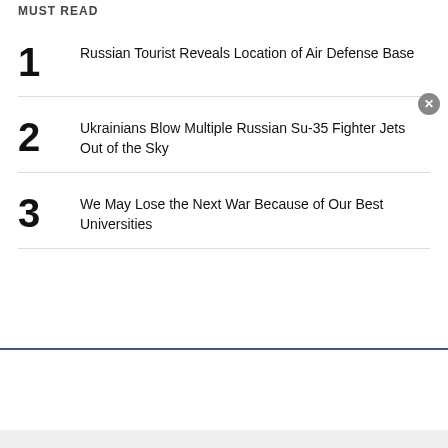MUST READ
1 Russian Tourist Reveals Location of Air Defense Base
2 Ukrainians Blow Multiple Russian Su-35 Fighter Jets Out of the Sky
3 We May Lose the Next War Because of Our Best Universities